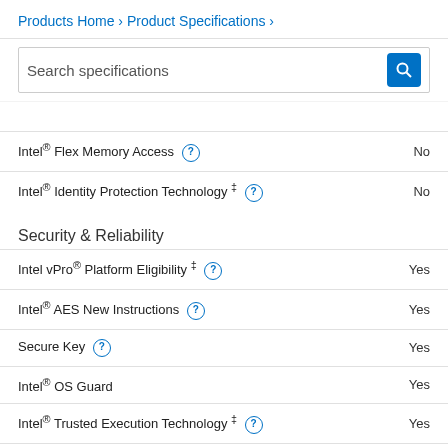Products Home › Product Specifications ›
Search specifications
| Specification | Value |
| --- | --- |
| Intel® Flex Memory Access | No |
| Intel® Identity Protection Technology ‡ | No |
Security & Reliability
| Specification | Value |
| --- | --- |
| Intel vPro® Platform Eligibility ‡ | Yes |
| Intel® AES New Instructions | Yes |
| Secure Key | Yes |
| Intel® OS Guard | Yes |
| Intel® Trusted Execution Technology ‡ | Yes |
| Execute Disable Bit ‡ | Yes |